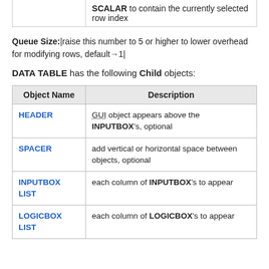|  |  |
| --- | --- |
|  | SCALAR to contain the currently selected row index |
Queue Size:|raise this number to 5 or higher to lower overhead for modifying rows, default→1|
DATA TABLE has the following Child objects:
| Object Name | Description |
| --- | --- |
| HEADER | GUI object appears above the INPUTBOX's, optional |
| SPACER | add vertical or horizontal space between objects, optional |
| INPUTBOX LIST | each column of INPUTBOX's to appear |
| LOGICBOX LIST | each column of LOGICBOX's to appear |